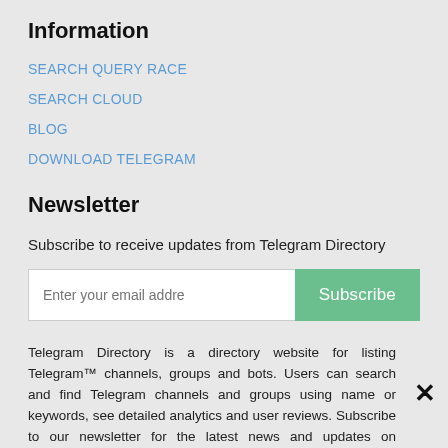Information
SEARCH QUERY RACE
SEARCH CLOUD
BLOG
DOWNLOAD TELEGRAM
Newsletter
Subscribe to receive updates from Telegram Directory
Enter your email addre [input field] Subscribe [button]
Telegram Directory is a directory website for listing Telegram™ channels, groups and bots. Users can search and find Telegram channels and groups using name or keywords, see detailed analytics and user reviews. Subscribe to our newsletter for the latest news and updates on Telegram Directory.